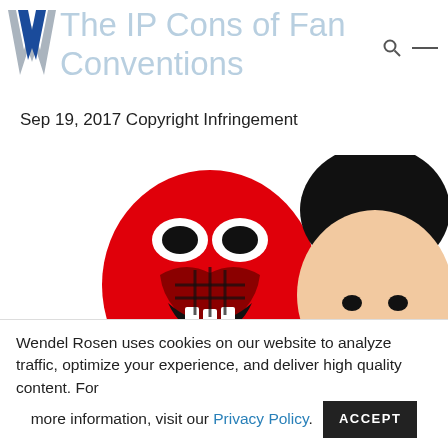The IP Cons of Fan Conventions
Sep 19, 2017 Copyright Infringement
[Figure (illustration): Cartoon illustration showing two characters: a red and black stylized spider/venom face on an oval red background on the left, and a cartoon face with black hair and peach skin on the right, partially cropped.]
Wendel Rosen uses cookies on our website to analyze traffic, optimize your experience, and deliver high quality content. For more information, visit our Privacy Policy.